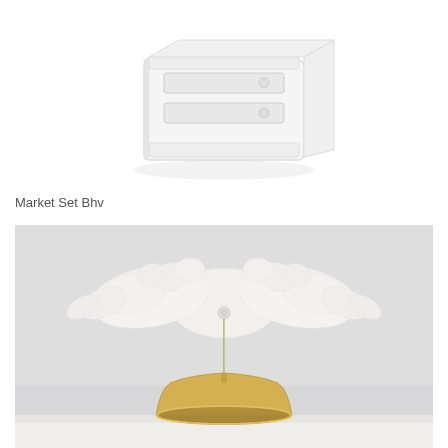[Figure (photo): A white product — appears to be a rectangular white appliance or device (like a toaster or humidifier) photographed on a white background, shown at an angle.]
Market Set Bhv
[Figure (photo): A decorative white plaster ceiling medallion with ornate bird and floral motifs, hanging a brass pendant lamp with a metal rod and dish-shaped shade below it. The background is a light grey wall/ceiling.]